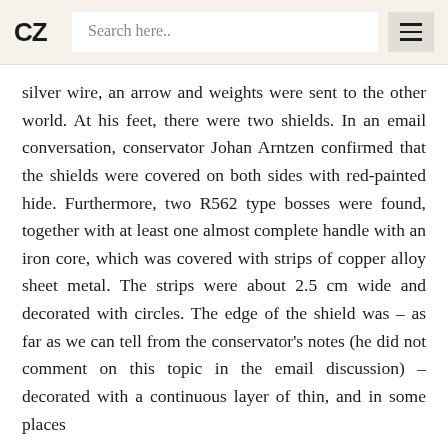CZ  Search here..  ☰
silver wire, an arrow and weights were sent to the other world. At his feet, there were two shields. In an email conversation, conservator Johan Arntzen confirmed that the shields were covered on both sides with red-painted hide. Furthermore, two R562 type bosses were found, together with at least one almost complete handle with an iron core, which was covered with strips of copper alloy sheet metal. The strips were about 2.5 cm wide and decorated with circles. The edge of the shield was – as far as we can tell from the conservator's notes (he did not comment on this topic in the email discussion) – decorated with a continuous layer of thin, and in some places